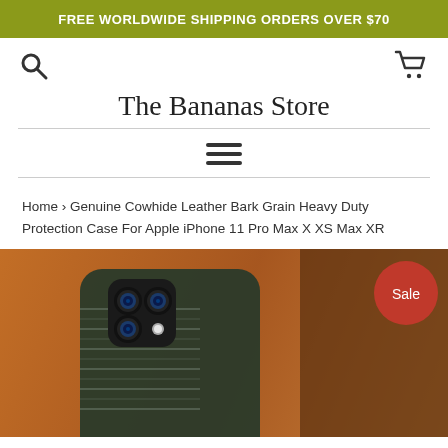FREE WORLDWIDE SHIPPING ORDERS OVER $70
[Figure (logo): Search icon (magnifying glass) on left, shopping cart icon on right]
The Bananas Store
[Figure (infographic): Hamburger menu icon (three horizontal lines)]
Home › Genuine Cowhide Leather Bark Grain Heavy Duty Protection Case For Apple iPhone 11 Pro Max X XS Max XR
[Figure (photo): Product photo showing a dark herringbone-pattern leather iPhone case placed on a brown leather surface with wooden objects in background. A red 'Sale' badge is visible in the top right corner.]